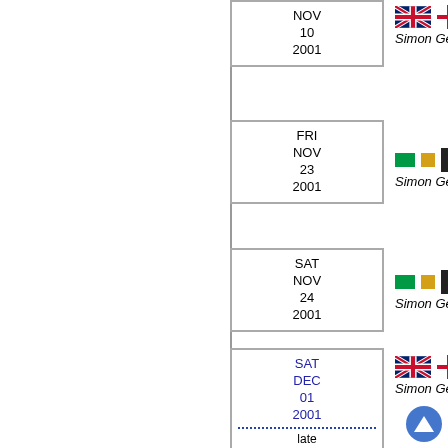| Date | Flags/Icons | Venue | Caption |
| --- | --- | --- | --- |
| NOV 10 2001 | UK+England | Stratford Upon Avon, Ro... | Simon Gee's WAVELENGTH |
| FRI NOV 23 2001 | Ireland+Icon | Dublin, Ambassador Thea... | Simon Gee's WAVELENGTH |
| SAT NOV 24 2001 | Ireland+Icon | Dublin, Ambassador Thea... | Simon Gee's WAVELENGTH |
| SAT DEC 01 2001 (late) | UK+England | Malvern, Forum Theatre | Simon Gee's WAVELENGTH |
|  | UK+England | Malvern, Forum Theatre |  |
|  | UK+England | , | Simon Gee's WAVELENGTH, VT |